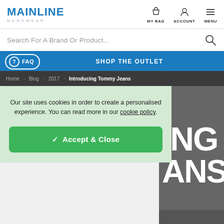MAINLINE MENSWEAR
Search For A Brand Or Product...
FAQ  SHOP THE OUTLET
Home → Blog → 2017 → Introducing Tommy Jeans
[Figure (screenshot): Background image area showing large bold text 'ING' and 'ANS' on a grey background, partially visible behind cookie overlay]
Our site uses cookies in order to create a personalised experience. You can read more in our cookie policy.
✓ Accept & Close